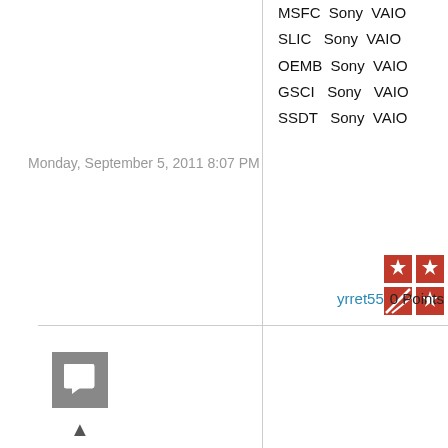MSFC Sony VAIO
SLIC Sony VAIO
OEMB Sony VAIO
GSCI Sony VAIO
SSDT Sony VAIO
Monday, September 5, 2011 8:07 PM
yrret55  0 Points
0
Sign in to vote